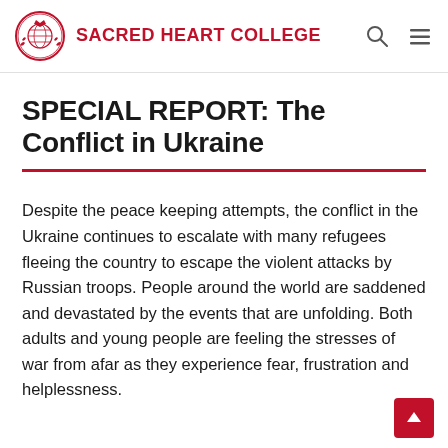SACRED HEART COLLEGE
SPECIAL REPORT: The Conflict in Ukraine
Despite the peace keeping attempts, the conflict in the Ukraine continues to escalate with many refugees fleeing the country to escape the violent attacks by Russian troops. People around the world are saddened and devastated by the events that are unfolding. Both adults and young people are feeling the stresses of war from afar as they experience fear, frustration and helplessness.